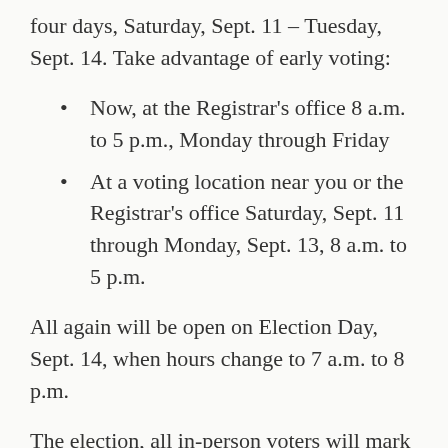four days, Saturday, Sept. 11 – Tuesday, Sept. 14. Take advantage of early voting:
Now, at the Registrar's office 8 a.m. to 5 p.m., Monday through Friday
At a voting location near you or the Registrar's office Saturday, Sept. 11 through Monday, Sept. 13, 8 a.m. to 5 p.m.
All again will be open on Election Day, Sept. 14, when hours change to 7 a.m. to 8 p.m.
The election, all in-person voters will mark their ballot on a ballot marking device. This device does not store, tabulate or count any votes. After the voter confirms their selection on the device, the voter will print their ballot, review it, and place it in the ballot box to be counted at